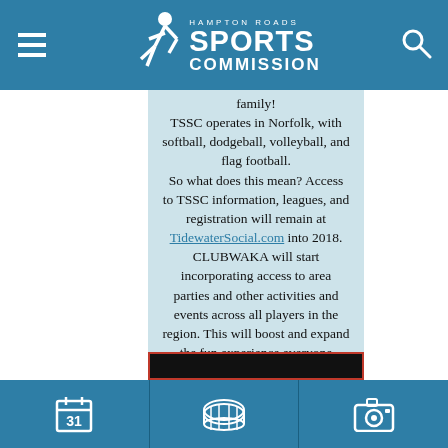Hampton Roads Sports Commission
family! TSSC operates in Norfolk, with softball, dodgeball, volleyball, and flag football. So what does this mean? Access to TSSC information, leagues, and registration will remain at TidewaterSocial.com into 2018. CLUBWAKA will start incorporating access to area parties and other activities and events across all players in the region. This will boost and expand the fun experience everyone expects.
Navigation icons: calendar, venue, camera